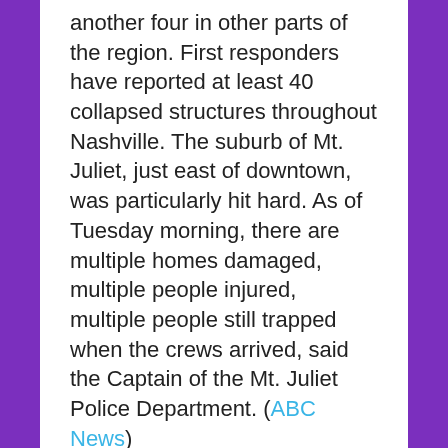another four in other parts of the region. First responders have reported at least 40 collapsed structures throughout Nashville. The suburb of Mt. Juliet, just east of downtown, was particularly hit hard. As of Tuesday morning, there are multiple homes damaged, multiple people injured, multiple people still trapped when the crews arrived, said the Captain of the Mt. Juliet Police Department. (ABC News)
SUPER TUESDAY PRIMARY RESULTS
Fourteen states are holding presidential primaries on Super Tuesday (3/3). California and Texas have the largest numbers of delegate making it the most pivotal day on the presidential primary calendar. More than